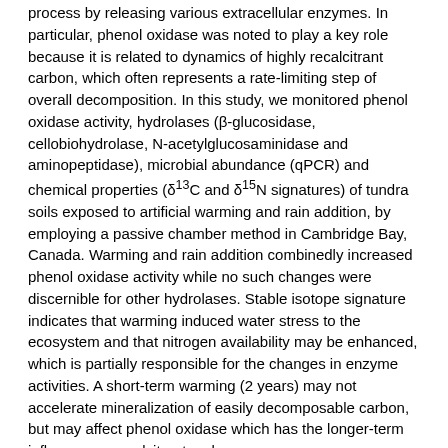process by releasing various extracellular enzymes. In particular, phenol oxidase was noted to play a key role because it is related to dynamics of highly recalcitrant carbon, which often represents a rate-limiting step of overall decomposition. In this study, we monitored phenol oxidase activity, hydrolases (β-glucosidase, cellobiohydrolase, N-acetylglucosaminidase and aminopeptidase), microbial abundance (qPCR) and chemical properties (δ13C and δ15N signatures) of tundra soils exposed to artificial warming and rain addition, by employing a passive chamber method in Cambridge Bay, Canada. Warming and rain addition combinedly increased phenol oxidase activity while no such changes were discernible for other hydrolases. Stable isotope signature indicates that warming induced water stress to the ecosystem and that nitrogen availability may be enhanced, which is partially responsible for the changes in enzyme activities. A short-term warming (2 years) may not accelerate mineralization of easily decomposable carbon, but may affect phenol oxidase which has the longer-term influence on recalcitrant carbon.
Back to: Carbon in the Arctic: Influence of Climate Change in Aquatic and Terrestrial Ecosystems II